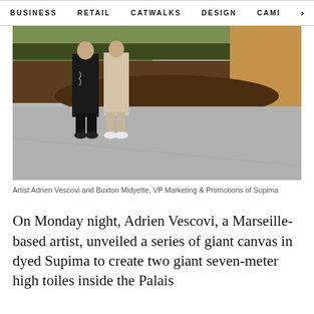BUSINESS   RETAIL   CATWALKS   DESIGN   CAMI >
[Figure (photo): Two people standing in front of large draped fabric canvases in earth tones (green, brown, tan) laid out on a concrete floor in a large hall.]
Artist Adrien Vescovi and Buxton Midyette, VP Marketing & Promotions of Supima
On Monday night, Adrien Vescovi, a Marseille-based artist, unveiled a series of giant canvas in dyed Supima to create two giant seven-meter high toiles inside the Palais